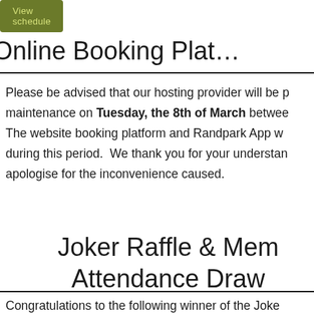[Figure (other): Green button labeled 'View schedule']
Online Booking Plat…
Please be advised that our hosting provider will be performing maintenance on Tuesday, the 8th of March between… The website booking platform and Randpark App w… during this period. We thank you for your understanding and apologise for the inconvenience caused.
Joker Raffle & Mem… Attendance Draw
Congratulations to the following winner of the Joke…